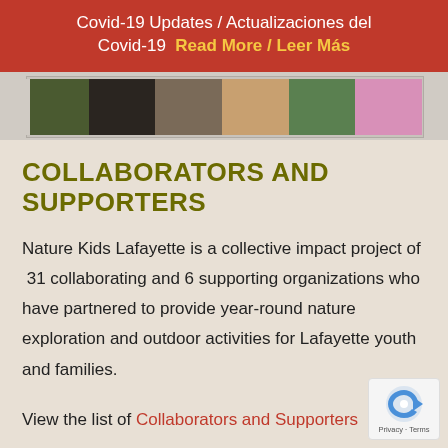Covid-19 Updates / Actualizaciones del Covid-19 Read More / Leer Más
[Figure (photo): A strip of photos showing children and families outdoors in nature]
COLLABORATORS AND SUPPORTERS
Nature Kids Lafayette is a collective impact project of 31 collaborating and 6 supporting organizations who have partnered to provide year-round nature exploration and outdoor activities for Lafayette youth and families.
View the list of Collaborators and Supporters